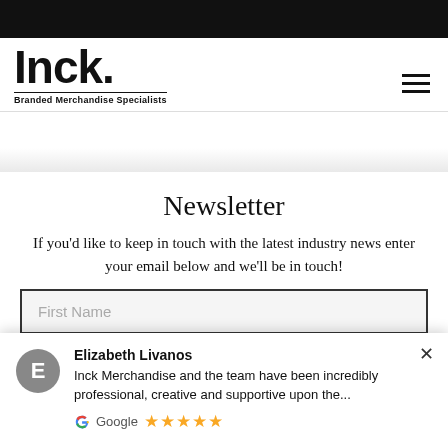Inck. Branded Merchandise Specialists
Newsletter
If you'd like to keep in touch with the latest industry news enter your email below and we'll be in touch!
First Name
Elizabeth Livanos
Inck Merchandise and the team have been incredibly professional, creative and supportive upon the...
Google ★★★★★